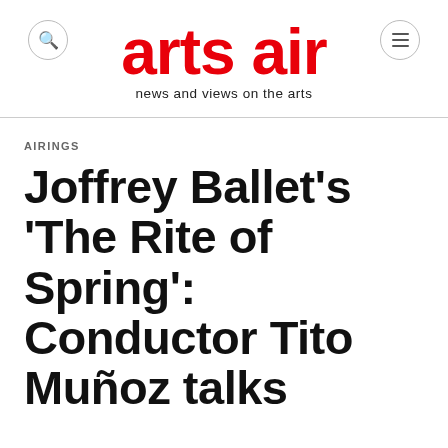arts air — news and views on the arts
AIRINGS
Joffrey Ballet's 'The Rite of Spring': Conductor Tito Muñoz talks